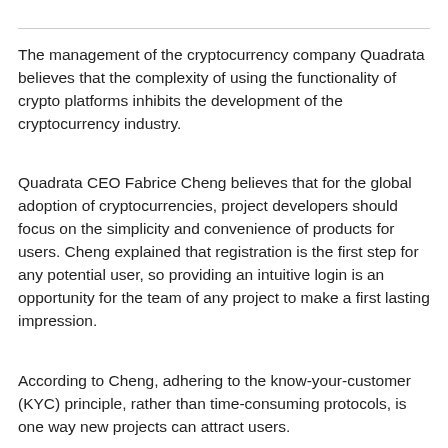The management of the cryptocurrency company Quadrata believes that the complexity of using the functionality of crypto platforms inhibits the development of the cryptocurrency industry.
Quadrata CEO Fabrice Cheng believes that for the global adoption of cryptocurrencies, project developers should focus on the simplicity and convenience of products for users. Cheng explained that registration is the first step for any potential user, so providing an intuitive login is an opportunity for the team of any project to make a first lasting impression.
According to Cheng, adhering to the know-your-customer (KYC) principle, rather than time-consuming protocols, is one way new projects can attract users.